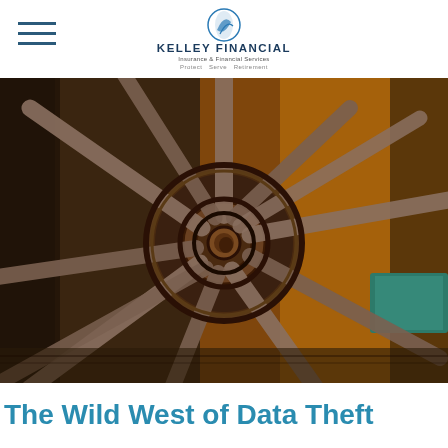Kelley Financial — Insurance & Financial Services
[Figure (photo): Close-up photograph of a rustic wooden wagon wheel with many spokes, shot from directly in front of the hub, inside a barn with warm golden light in the background and teal/green metal object on the right side.]
The Wild West of Data Theft